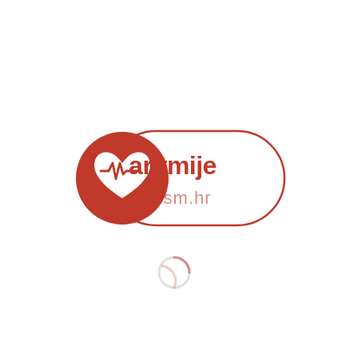[Figure (logo): aritmije.kbcsm.hr logo: a red circle containing a white heart with ECG waveline, next to a pill-shaped white badge with red border containing the text 'aritmije' in bold red and 'kbcsm.hr' in lighter red below it. Below the logo is a partial loading spinner circle.]